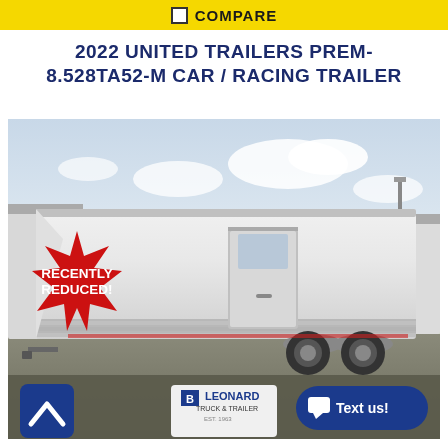COMPARE
2022 UNITED TRAILERS PREM-8.528TA52-M CAR / RACING TRAILER
[Figure (photo): White 2022 United Trailers PREM-8.528TA52-M car/racing trailer parked in a lot, side view showing chrome door and dual axle wheels. A red starburst badge in the top-left reads 'RECENTLY REDUCED!'. At the bottom are a scroll-up button, Leonard Truck & Trailer logo, and a 'Text us!' button.]